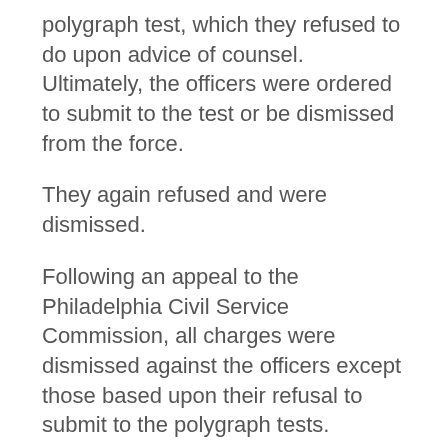polygraph test, which they refused to do upon advice of counsel. Ultimately, the officers were ordered to submit to the test or be dismissed from the force.
They again refused and were dismissed.
Following an appeal to the Philadelphia Civil Service Commission, all charges were dismissed against the officers except those based upon their refusal to submit to the polygraph tests.
On further appeal, the trial court held that the dismissals constituted a denial of the officers' right to due process and ordered reinstatement of the policemen with full pay.
The city appealed to our supreme court, which first observed that local civil service regulations provided that the officers may only be dismissed for "just